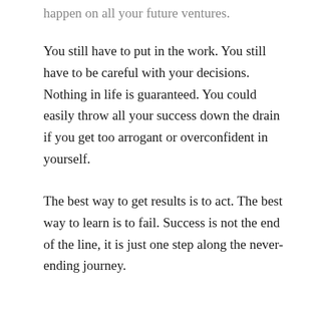happen on all your future ventures.
You still have to put in the work. You still have to be careful with your decisions. Nothing in life is guaranteed. You could easily throw all your success down the drain if you get too arrogant or overconfident in yourself.
The best way to get results is to act. The best way to learn is to fail. Success is not the end of the line, it is just one step along the never-ending journey.
Don't think for one second you have reached enlightenment in business because you had one ounce of success.